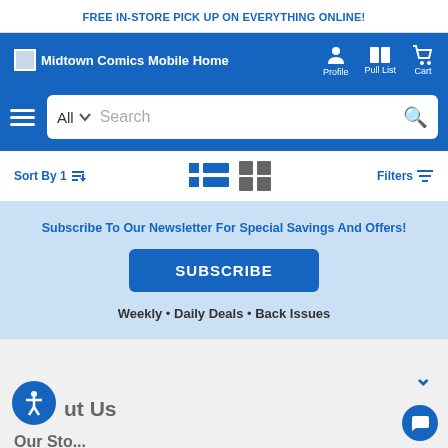FREE IN-STORE PICK UP ON EVERYTHING ONLINE!
[Figure (screenshot): Midtown Comics mobile website navigation bar with logo, Profile, Pull List, and Cart icons]
[Figure (screenshot): Search bar with hamburger menu, All category selector, Search input, and search icon button]
[Figure (screenshot): Sort By and Filters toolbar with list and grid view toggle icons]
Subscribe To Our Newsletter For Special Savings And Offers!
SUBSCRIBE
Weekly • Daily Deals • Back Issues
ut Us
Our Sto...